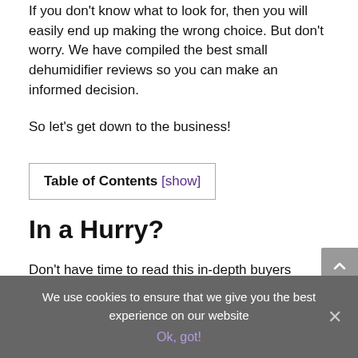If you don't know what to look for, then you will easily end up making the wrong choice. But don't worry. We have compiled the best small dehumidifier reviews so you can make an informed decision.
So let's get down to the business!
Table of Contents [show]
In a Hurry?
Don't have time to read this in-depth buyers guide?
We use cookies to ensure that we give you the best experience on our website
Ok, got!